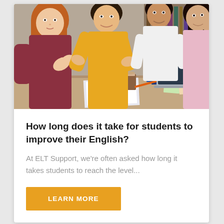[Figure (photo): Four students (two women, two men) collaborating around a table with a laptop, coffee cup, papers with charts, colorful pencils in a holder, and sticky notes. They appear to be in a library or study space, smiling and engaged.]
How long does it take for students to improve their English?
At ELT Support, we're often asked how long it takes students to reach the level...
LEARN MORE